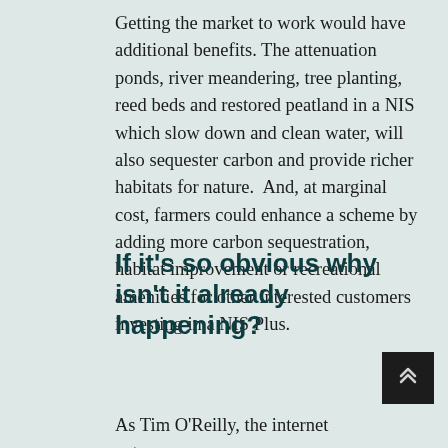Getting the market to work would have additional benefits. The attenuation ponds, river meandering, tree planting, reed beds and restored peatland in a NIS which slow down and clean water, will also sequester carbon and provide richer habitats for nature.  And, at marginal cost, farmers could enhance a scheme by adding more carbon sequestration, habitat improvement or recreational amenities for other interested customers investing in a NIS Plus.
If it's so obvious why isn't it already happening?
As Tim O'Reilly, the internet entrepreneur,